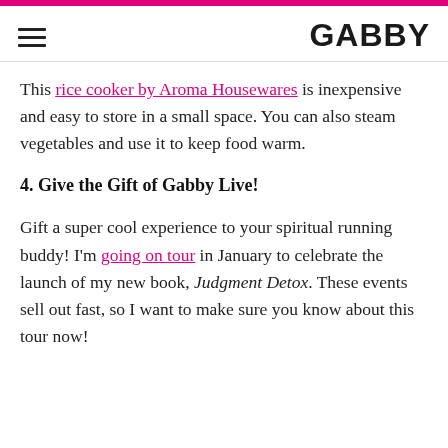GABBY
This rice cooker by Aroma Housewares is inexpensive and easy to store in a small space. You can also steam vegetables and use it to keep food warm.
4. Give the Gift of Gabby Live!
Gift a super cool experience to your spiritual running buddy! I'm going on tour in January to celebrate the launch of my new book, Judgment Detox. These events sell out fast, so I want to make sure you know about this tour now!